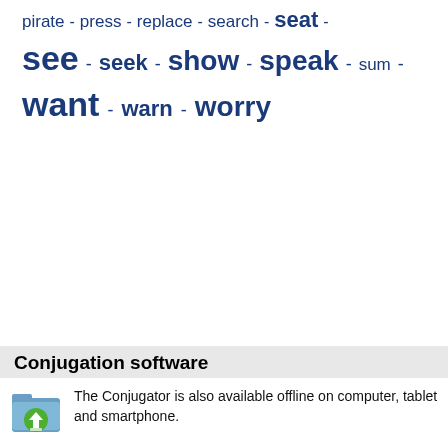pirate - press - replace - search - seat - see - seek - show - speak - sum - want - warn - worry
Conjugation software
The Conjugator is also available offline on computer, tablet and smartphone.